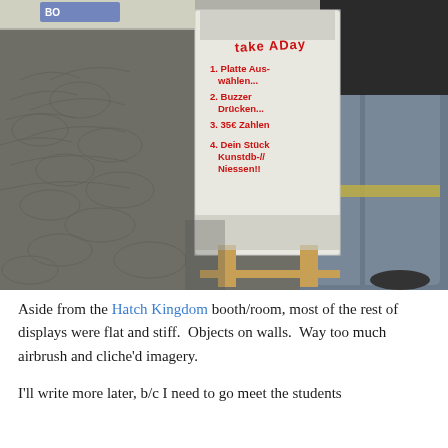[Figure (photo): Outdoor photo of a white vending-machine-style box on wooden legs with handwritten red and black text reading 'Take A Day: 1. Platte Auswählen... 2. Buzzer Drücken... 3. 35€ Zahlen... 4. Dein Stück Kunstdb-// Niessen!!' A person wearing jeans and a black t-shirt stands next to it with a DSLR camera strap visible. Cobblestone ground visible in background.]
Aside from the Hatch Kingdom booth/room, most of the rest of displays were flat and stiff.  Objects on walls.  Way too much airbrush and cliche'd imagery.
I'll write more later, b/c I need to go meet the students